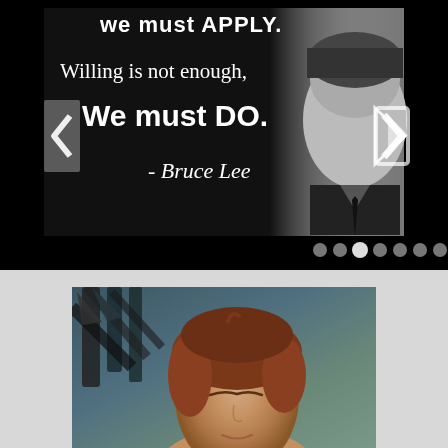[Figure (photo): Slideshow widget on black background showing a Bruce Lee quote card with partial top text cut off reading 'we must APPLY', then 'Willing is not enough,' and 'We must DO.' with attribution '- Bruce Lee'. A black-and-white photo of Bruce Lee appears on the right side. Navigation arrows on left and right, dot pagination indicators at bottom.]
[Figure (photo): Photo of a young woman with short reddish-brown hair, eyes closed, with dark vertical bars (like a fence or gate) visible in the background against a dark teal/green background.]